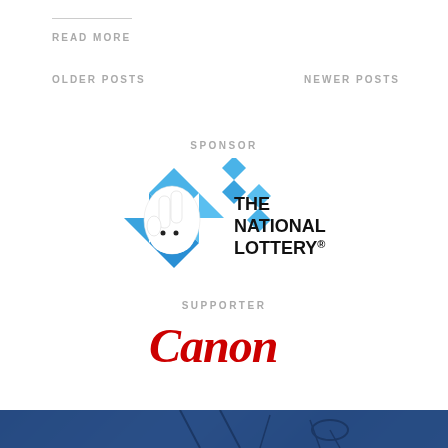READ MORE
OLDER POSTS
NEWER POSTS
SPONSOR
[Figure (logo): The National Lottery logo — blue diamond/star shapes with a crossed-fingers hand icon and 'THE NATIONAL LOTTERY®' text in bold black]
SUPPORTER
[Figure (logo): Canon logo — bold red italic lettering spelling 'Canon']
[Figure (photo): Blue-tinted photograph showing equipment/machinery silhouettes against a dark blue background, partially visible at bottom of page]